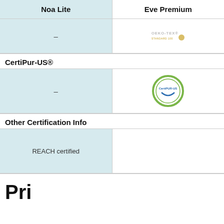| Noa Lite | Eve Premium |
| --- | --- |
| – | OEKO-TEX® STANDARD 100 |
| – | CertiPUR-US logo |
| REACH certified | – |
CertiPur-US®
Other Certification Info
Pri…